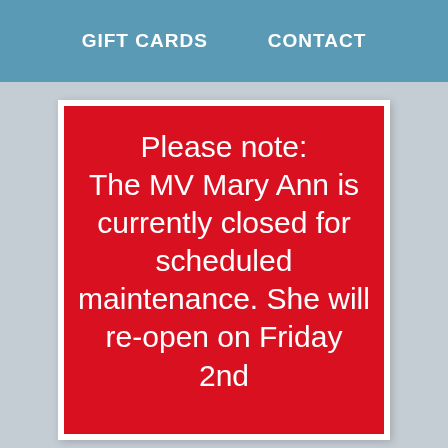GIFT CARDS    CONTACT
Please note: The MV Mary Ann is currently closed for scheduled maintenance. She will re-open on Friday 2nd